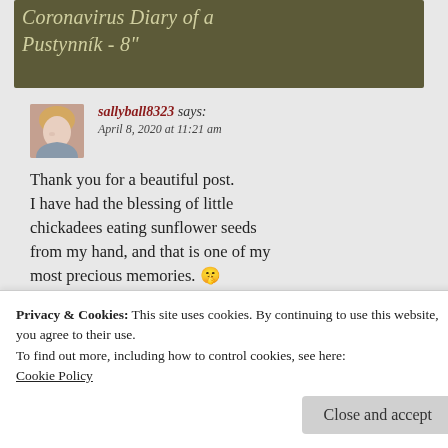Coronavirus Diary of a Pustynnik - 8"
sallyball8323 says:
April 8, 2020 at 11:21 am

Thank you for a beautiful post. I have had the blessing of little chickadees eating sunflower seeds from my hand, and that is one of my most precious memories. 🤫
★ Liked by 2 people
Reply
Privacy & Cookies: This site uses cookies. By continuing to use this website, you agree to their use.
To find out more, including how to control cookies, see here: Cookie Policy
Close and accept